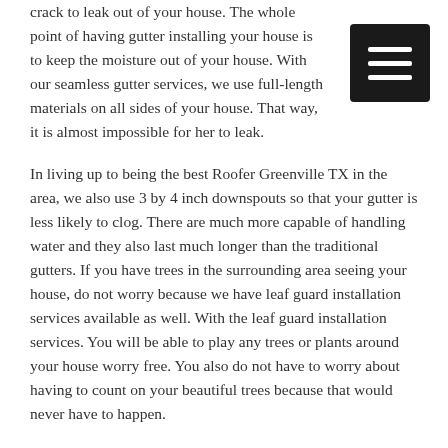crack to leak out of your house. The whole point of having gutter installing your house is to keep the moisture out of your house. With our seamless gutter services, we use full-length materials on all sides of your house. That way, it is almost impossible for her to leak.
In living up to being the best Roofer Greenville TX in the area, we also use 3 by 4 inch downspouts so that your gutter is less likely to clog. There are much more capable of handling water and they also last much longer than the traditional gutters. If you have trees in the surrounding area seeing your house, do not worry because we have leaf guard installation services available as well. With the leaf guard installation services. You will be able to play any trees or plants around your house worry free. You also do not have to worry about having to count on your beautiful trees because that would never have to happen.